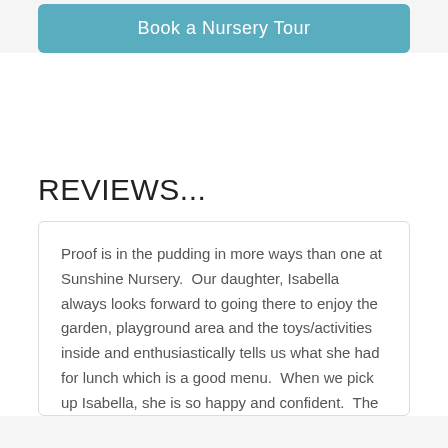[Figure (other): Teal/blue button labeled 'Book a Nursery Tour']
REVIEWS...
Proof is in the pudding in more ways than one at Sunshine Nursery.  Our daughter, Isabella always looks forward to going there to enjoy the garden, playground area and the toys/activities inside and enthusiastically tells us what she had for lunch which is a good menu.  When we pick up Isabella, she is so happy and confident.  The